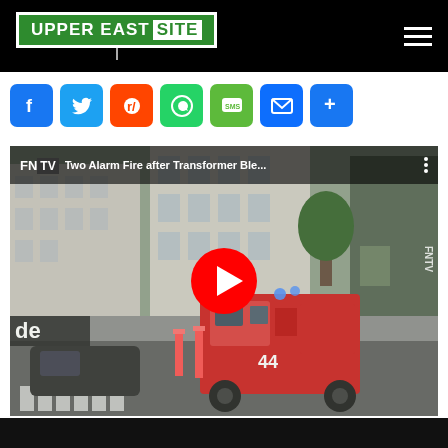Upper East Site
[Figure (screenshot): Social media share buttons: Facebook, Twitter, Reddit, WhatsApp, SMS, Email, More]
[Figure (screenshot): FNTV YouTube video thumbnail showing 'Two Alarm Fire after Transformer Ble...' with a fire truck (number 44) on a city street with a YouTube play button overlay]